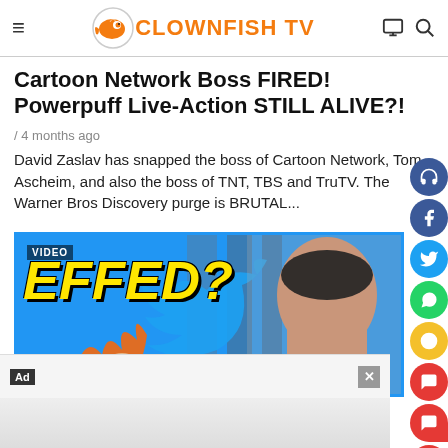CLOWNFISH TV
Cartoon Network Boss FIRED! Powerpuff Live-Action STILL ALIVE?!
/ 4 months ago
David Zaslav has snapped the boss of Cartoon Network, Tom Ascheim, and also the boss of TNT, TBS and TruTV. The Warner Bros Discovery purge is BRUTAL...
[Figure (screenshot): Video thumbnail with text 'EFFED?' in yellow on blue background with Twitter bird logo and a man's face on the right, with VIDEO label]
Ad